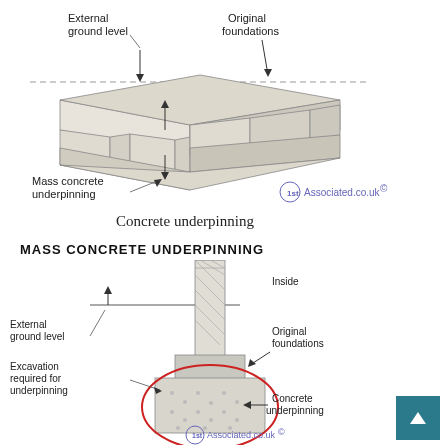[Figure (engineering-diagram): Isometric diagram of concrete underpinning showing external ground level, original foundations, and mass concrete underpinning blocks. Labeled with arrows. Watermark: 1st Associated.co.uk.]
Concrete underpinning
MASS CONCRETE UNDERPINNING
[Figure (engineering-diagram): Cross-section diagram of mass concrete underpinning showing external ground level, inside, original foundations, excavation required for underpinning, and concrete underpinning (circled in red). Watermark: 1st Associated.co.uk.]